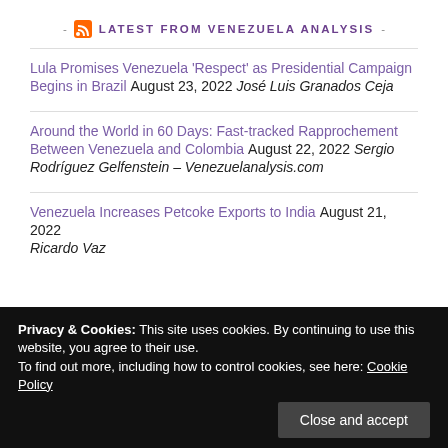- LATEST FROM VENEZUELA ANALYSIS -
Lula Promises Venezuela 'Respect' as Presidential Campaign Begins in Brazil August 23, 2022 José Luis Granados Ceja
Around the World in 60 Days: Fast-tracked Rapprochement Between Venezuela and Colombia August 22, 2022 Sergio Rodríguez Gelfenstein – Venezuelanalysis.com
Venezuela Increases Petcoke Exports to India August 21, 2022 Ricardo Vaz
Privacy & Cookies: This site uses cookies. By continuing to use this website, you agree to their use. To find out more, including how to control cookies, see here: Cookie Policy
Venezuela and Colombia Appoint Ambassadors in Effort To